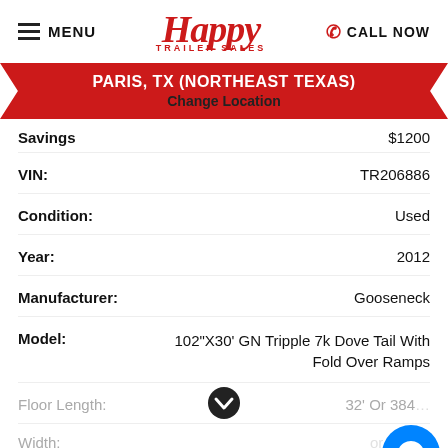MENU | Happy Trailer Sales | CALL NOW
PARIS, TX (NORTHEAST TEXAS)
Change Location
Savings $1200
| Field | Value |
| --- | --- |
| VIN: | TR206886 |
| Condition: | Used |
| Year: | 2012 |
| Manufacturer: | Gooseneck |
| Model: | 102"X30' GN Tripple 7k Dove Tail With Fold Over Ramps |
| Floor Length: | 32' Or 384... |
| Width: | ... |